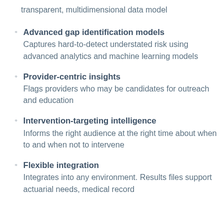transparent, multidimensional data model
Advanced gap identification models – Captures hard-to-detect understated risk using advanced analytics and machine learning models
Provider-centric insights – Flags providers who may be candidates for outreach and education
Intervention-targeting intelligence – Informs the right audience at the right time about when to and when not to intervene
Flexible integration – Integrates into any environment. Results files support actuarial needs, medical record